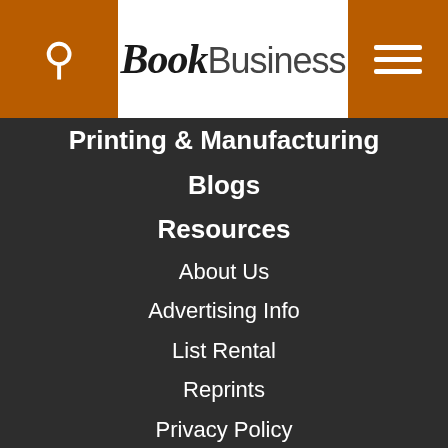BookBusiness
Printing & Manufacturing
Blogs
Resources
About Us
Advertising Info
List Rental
Reprints
Privacy Policy
This site uses cookies for tracking purposes. By continuing to browse our website, you agree to the storing of first- and third-party cookies on your device to enhance site navigation, analyze site usage, and assist in our marketing and communication efforts.
Privacy Policy | Terms of Use | Close